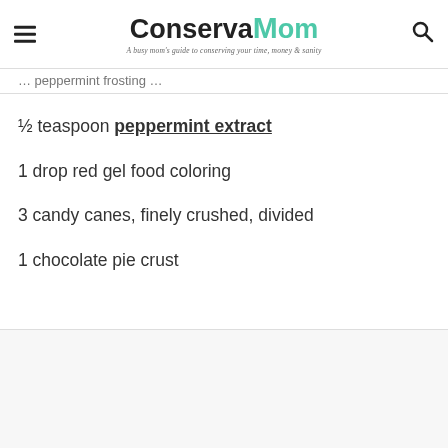ConservaMom — A busy mom's guide to conserving your time, money & sanity
… peppermint frosting …
½ teaspoon peppermint extract
1 drop red gel food coloring
3 candy canes, finely crushed, divided
1 chocolate pie crust